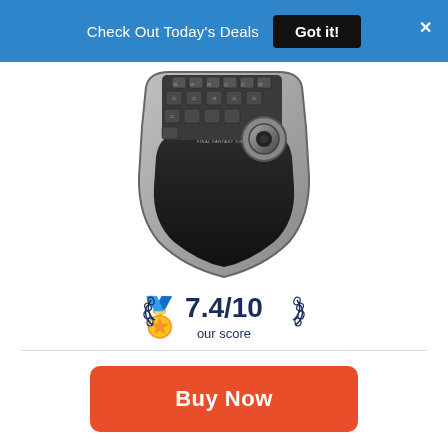Check Out Today's Deals  Got it!
[Figure (photo): Gaming keypad device (appears to be a Nostromo or similar left-hand gaming keypad with numbered keys and a thumbwheel, viewed from above, silver and black color)]
7.4/10
our score
Buy Now